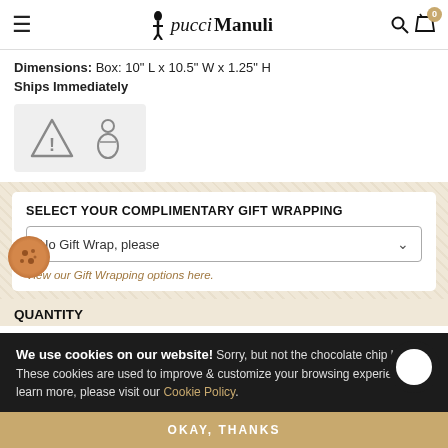pucciManuli header with menu, logo, search, and cart
Dimensions: Box: 10" L x 10.5" W x 1.25" H
Ships Immediately
[Figure (illustration): Warning triangle icon and baby/child safety icon on a grey background box]
SELECT YOUR COMPLIMENTARY GIFT WRAPPING
No Gift Wrap, please
View our Gift Wrapping options here.
QUANTITY
We use cookies on our website! Sorry, but not the chocolate chip kind. These cookies are used to improve & customize your browsing experience. To learn more, please visit our Cookie Policy.
OKAY, THANKS